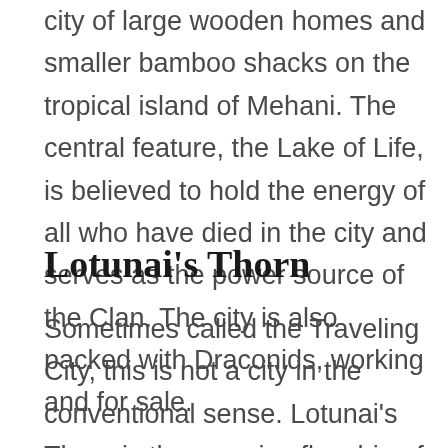city of large wooden homes and smaller bamboo shacks on the tropical island of Mehani. The central feature, the Lake of Life, is believed to hold the energy of all who have died in the city and serves as the power source of the Clan. The city is also packed with Draconids, working and for sale.
Lotunai's Thorn
Sometimes called the Traveling City, this is not a city in the conventional sense. Lotunai's Thorn is the massive flagship of Clan Menawi's Fleet. The ship travels amongst the Jewels of Lotunai, the series of small islands in the east